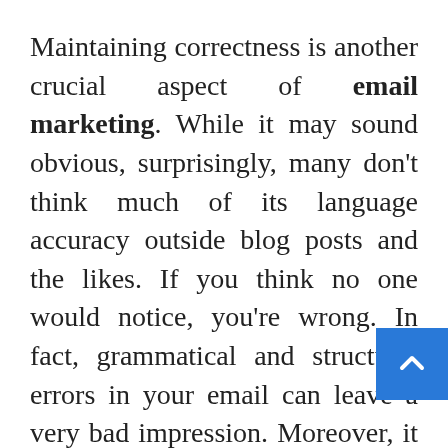Maintaining correctness is another crucial aspect of email marketing. While it may sound obvious, surprisingly, many don't think much of its language accuracy outside blog posts and the likes. If you think no one would notice, you're wrong. In fact, grammatical and structural errors in your email can leave a very bad impression. Moreover, it looks very unprofessional.
Hence, it is important to make sure that grammar and structure are to the point throughout the email content. Proofreading is important. For aid, you can use tools like Grammarly that will not only help you spot...